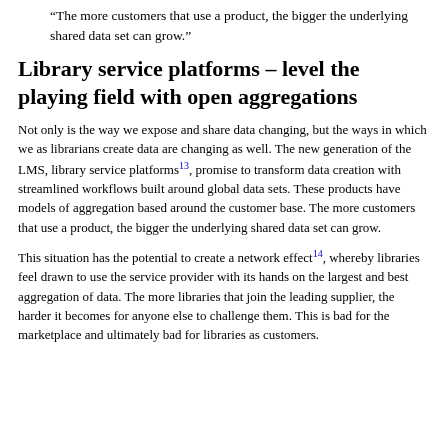“The more customers that use a product, the bigger the underlying shared data set can grow.”
Library service platforms – level the playing field with open aggregations
Not only is the way we expose and share data changing, but the ways in which we as librarians create data are changing as well. The new generation of the LMS, library service platforms¹³, promise to transform data creation with streamlined workflows built around global data sets. These products have models of aggregation based around the customer base. The more customers that use a product, the bigger the underlying shared data set can grow.
This situation has the potential to create a network effect¹⁴, whereby libraries feel drawn to use the service provider with its hands on the largest and best aggregation of data. The more libraries that join the leading supplier, the harder it becomes for anyone else to challenge them. This is bad for the marketplace and ultimately bad for libraries as customers.